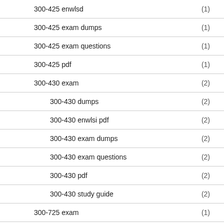300-425 enwlsd (1)
300-425 exam dumps (1)
300-425 exam questions (1)
300-425 pdf (1)
300-430 exam (2)
300-430 dumps (2)
300-430 enwlsi pdf (2)
300-430 exam dumps (2)
300-430 exam questions (2)
300-430 pdf (2)
300-430 study guide (2)
300-725 exam (1)